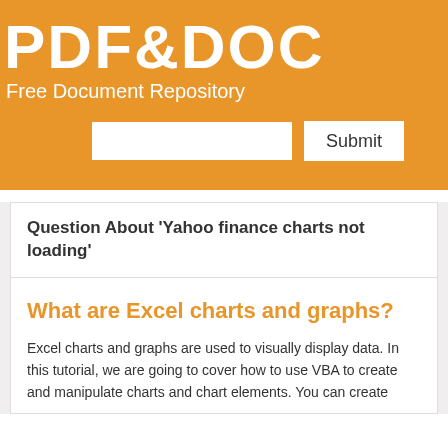PDF&DOC
Free Document Repository
Question About 'Yahoo finance charts not loading'
What are Excel charts and graphs?
Excel charts and graphs are used to visually display data. In this tutorial, we are going to cover how to use VBA to create and manipulate charts and chart elements. You can create